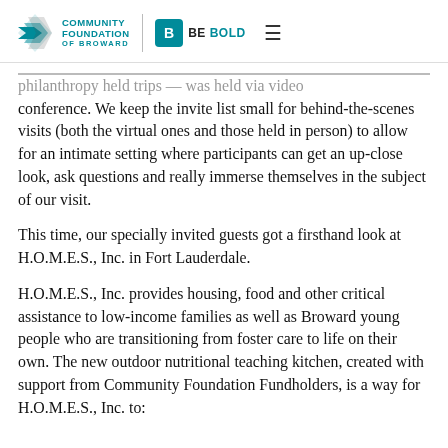Community Foundation of Broward | BE BOLD
philanthropy held trips — was held via video conference. We keep the invite list small for behind-the-scenes visits (both the virtual ones and those held in person) to allow for an intimate setting where participants can get an up-close look, ask questions and really immerse themselves in the subject of our visit.
This time, our specially invited guests got a firsthand look at H.O.M.E.S., Inc. in Fort Lauderdale.
H.O.M.E.S., Inc. provides housing, food and other critical assistance to low-income families as well as Broward young people who are transitioning from foster care to life on their own. The new outdoor nutritional teaching kitchen, created with support from Community Foundation Fundholders, is a way for H.O.M.E.S., Inc. to: